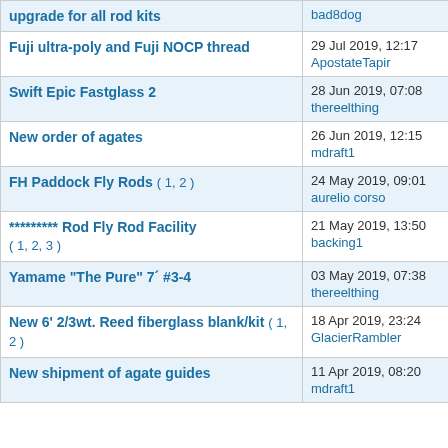| Topic | Last post |
| --- | --- |
| upgrade for all rod kits | bad8dog ➜ |
| Fuji ultra-poly and Fuji NOCP thread | 29 Jul 2019, 12:17 ApostateTapir ➜ |
| Swift Epic Fastglass 2 | 28 Jun 2019, 07:08 thereelthing ➜ |
| New order of agates | 26 Jun 2019, 12:15 mdraft1 ➜ |
| FH Paddock Fly Rods ( 1, 2 ) | 24 May 2019, 09:01 aurelio corso ➜ |
| ********* Rod Fly Rod Facility ( 1, 2, 3 ) | 21 May 2019, 13:50 backing1 ➜ |
| Yamame "The Pure" 7´ #3-4 | 03 May 2019, 07:38 thereelthing ➜ |
| New 6' 2/3wt. Reed fiberglass blank/kit ( 1, 2 ) | 18 Apr 2019, 23:24 GlacierRambler ➜ |
| New shipment of agate guides | 11 Apr 2019, 08:20 mdraft1 ➜ |